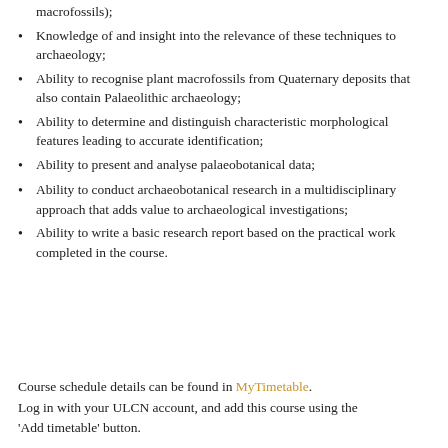macrofossils);
Knowledge of and insight into the relevance of these techniques to archaeology;
Ability to recognise plant macrofossils from Quaternary deposits that also contain Palaeolithic archaeology;
Ability to determine and distinguish characteristic morphological features leading to accurate identification;
Ability to present and analyse palaeobotanical data;
Ability to conduct archaeobotanical research in a multidisciplinary approach that adds value to archaeological investigations;
Ability to write a basic research report based on the practical work completed in the course.
Course schedule details can be found in MyTimetable. Log in with your ULCN account, and add this course using the 'Add timetable' button.